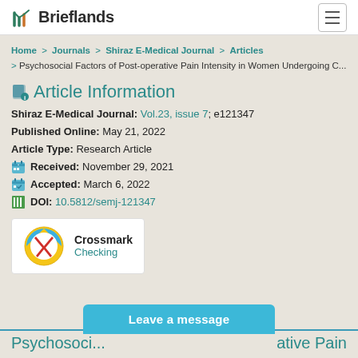Brieflands
Home > Journals > Shiraz E-Medical Journal > Articles > Psychosocial Factors of Post-operative Pain Intensity in Women Undergoing C...
Article Information
Shiraz E-Medical Journal: Vol.23, issue 7; e121347
Published Online: May 21, 2022
Article Type: Research Article
Received: November 29, 2021
Accepted: March 6, 2022
DOI: 10.5812/semj-121347
[Figure (logo): Crossmark logo with circular gold/red/blue badge]
Crossmark
Checking
Leave a message
Psychosoci... ative Pain